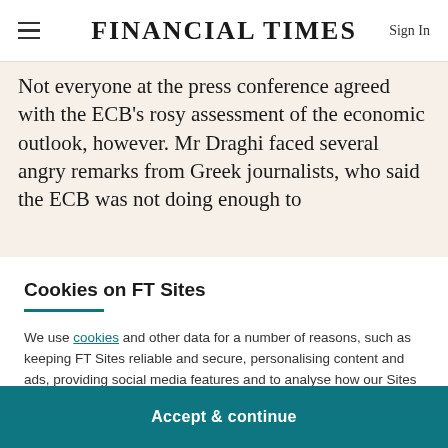FINANCIAL TIMES
Not everyone at the press conference agreed with the ECB's rosy assessment of the economic outlook, however. Mr Draghi faced several angry remarks from Greek journalists, who said the ECB was not doing enough to
Cookies on FT Sites
We use cookies and other data for a number of reasons, such as keeping FT Sites reliable and secure, personalising content and ads, providing social media features and to analyse how our Sites are used.
Manage cookies
Accept & continue